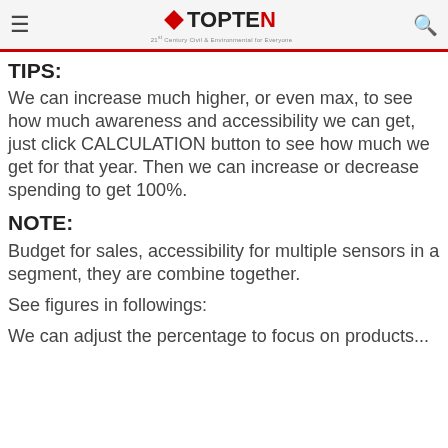≡ TOPTEN 21st Century Civil & Environmental for Everyone 🔍
TIPS:
We can increase much higher, or even max, to see how much awareness and accessibility we can get, just click CALCULATION button to see how much we get for that year. Then we can increase or decrease spending to get 100%.
NOTE:
Budget for sales, accessibility for multiple sensors in a segment, they are combine together.
See figures in followings:
We can adjust the percentage to focus on products...